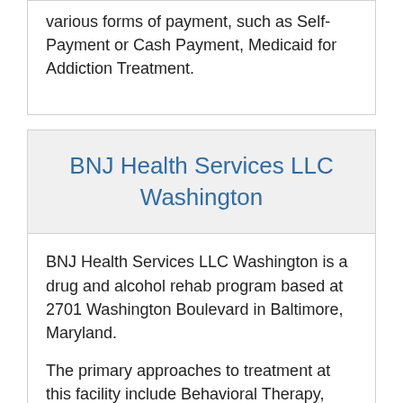various forms of payment, such as Self-Payment or Cash Payment, Medicaid for Addiction Treatment.
BNJ Health Services LLC Washington
BNJ Health Services LLC Washington is a drug and alcohol rehab program based at 2701 Washington Boulevard in Baltimore, Maryland.
The primary approaches to treatment at this facility include Behavioral Therapy, Relapse